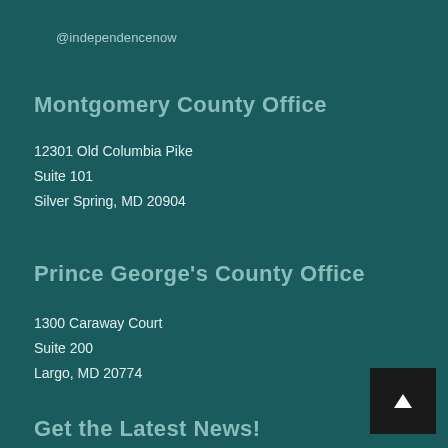@independencenow
Montgomery County Office
12301 Old Columbia Pike
Suite 101
Silver Spring, MD 20904
Prince George's County Office
1300 Caraway Court
Suite 200
Largo, MD 20774
Get the Latest News!